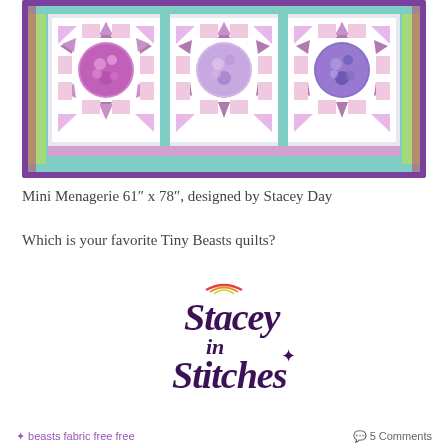[Figure (photo): Photo of a quilt called Mini Menagerie featuring star blocks with circular centers in purple and pink tones on a mint/teal border background, showing three star blocks in a row.]
Mini Menagerie 61” x 78”, designed by Stacey Day
Which is your favorite Tiny Beasts quilts?
[Figure (logo): Stacey in Stitches logo in dark purple script handwriting style text]
beasts  fabric  free  free       5 Comments